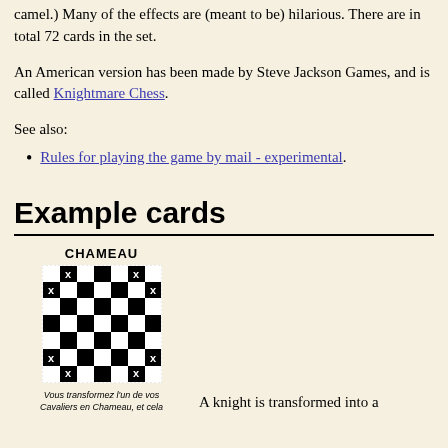camel.) Many of the effects are (meant to be) hilarious. There are in total 72 cards in the set.
An American version has been made by Steve Jackson Games, and is called Knightmare Chess.
See also:
Rules for playing the game by mail - experimental.
Example cards
[Figure (illustration): Chess card titled CHAMEAU showing a chessboard with X marks indicating knight movement squares, with a C in the center]
Vous transformez l'un de vos Cavaliers en Chameau, et cela
A knight is transformed into a